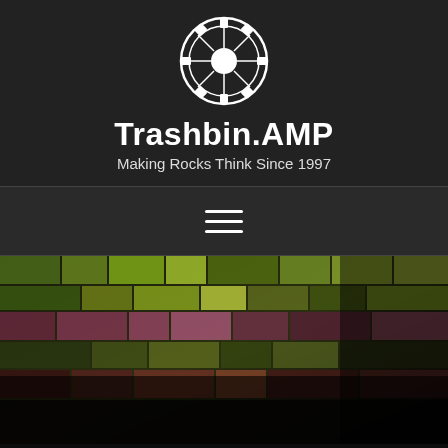[Figure (logo): Trashbin.AMP circular gear/mechanical logo in black and white]
Trashbin.AMP
Making Rocks Think Since 1997
[Figure (other): Hamburger menu icon — three horizontal white lines]
[Figure (photo): Dark colorful background image showing a music or video production interface with green, yellow, pink grid panels]
Professional Portfolio